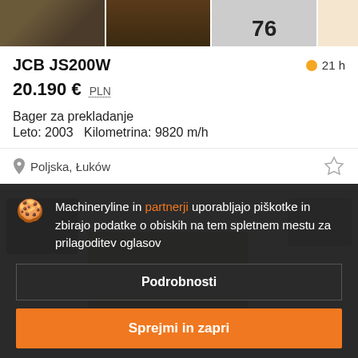[Figure (photo): Four product thumbnail images in a horizontal strip at the top: excavator close-up, soil/ground photo, item with number 76, and a light-colored fourth image]
JCB JS200W
21 h
20.190 € PLN
Bager za prekladanje
Leto: 2003   Kilometrina: 9820 m/h
Poljska, Łuków
Machineryline in partnerji uporabljajo piškotke in zbirajo podatke o obiskih na tem spletnem mestu za prilagoditev oglasov
Podrobnosti
Sprejmi in zapri